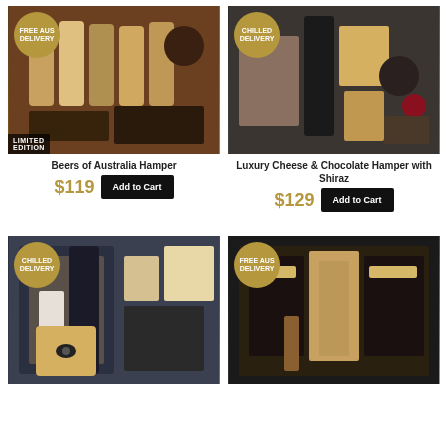[Figure (photo): Beers of Australia Hamper product photo with 'FREE AUS DELIVERY' badge and 'LIMITED EDITION' corner label]
[Figure (photo): Luxury Cheese & Chocolate Hamper with Shiraz product photo with 'CHILLED DELIVERY' badge]
Beers of Australia Hamper
Luxury Cheese & Chocolate Hamper with Shiraz
$119 Add to Cart
$129 Add to Cart
[Figure (photo): Wine hamper product photo with 'CHILLED DELIVERY' badge]
[Figure (photo): Nut/snack hamper product photo with 'FREE AUS DELIVERY' badge]